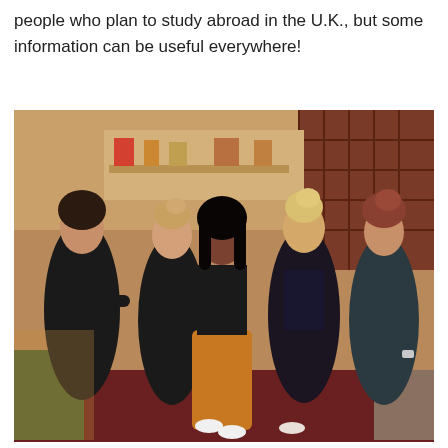people who plan to study abroad in the U.K., but some information can be useful everywhere!
[Figure (photo): Five young women standing together in a room, arms around each other, dressed in casual/party attire. One in the center wears an orange/mustard wide-leg pants and black crop top; others are mostly in black outfits. They appear to be socializing in a student accommodation room.]